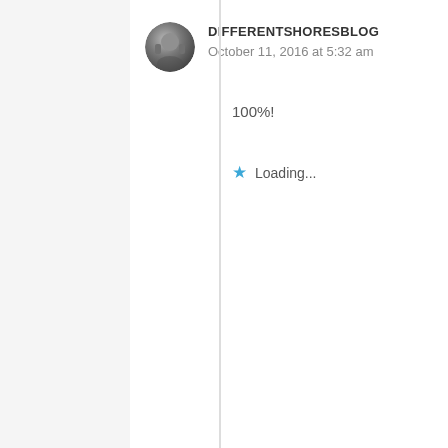DIFFERENTSHORESBLOG
October 11, 2016 at 5:32 am
100%!
Loading...
GSMWC02
August 1, 2016 at 9:59 am
Actually if I knew you IRL I would be sensitive in talking about my parents around you. I'm sorry to hear about losing your parents.
You can never be bei...